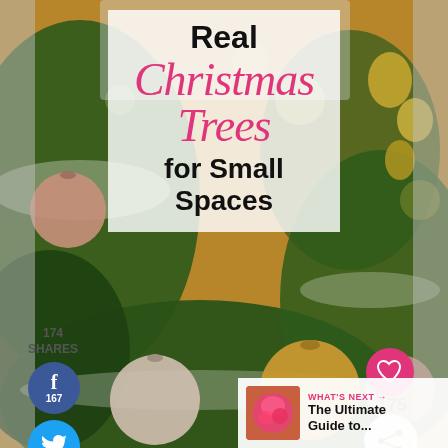[Figure (photo): Christmas tree decorated with ornaments, baubles in gold and pink, with snow-dusted pine branches, bokeh background]
Real Christmas Trees for Small Spaces
174 SHARES
f 167
Twitter share button
p 7
Heart / like button
175
Share button
WHAT'S NEXT → The Ultimate Guide to...